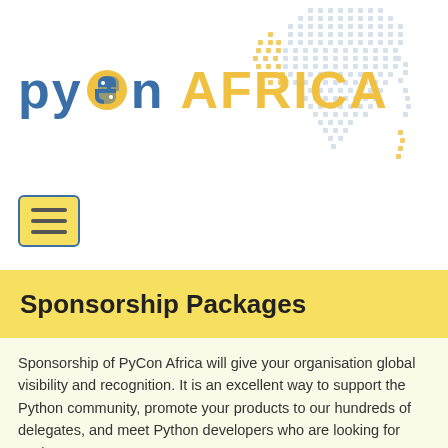[Figure (logo): PyCon Africa logo with dotted Africa map silhouette in blue and yellow, and Python logo snake icon replacing the 'o' in PyCon]
[Figure (illustration): Hamburger menu button with three horizontal lines, yellow background, blue border]
Sponsorship Packages
Sponsorship of PyCon Africa will give your organisation global visibility and recognition. It is an excellent way to support the Python community, promote your products to our hundreds of delegates, and meet Python developers who are looking for work.